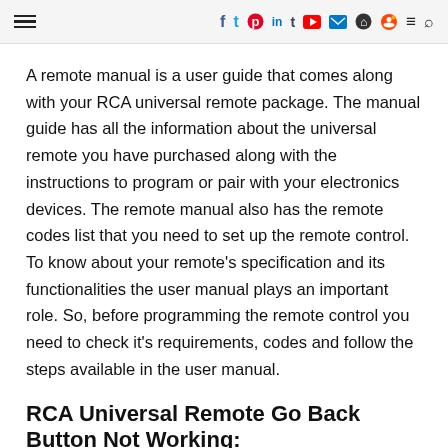≡  f  t  p  in  t  ▶  ✉  ⌂  ⚙  ≡  🔍
A remote manual is a user guide that comes along with your RCA universal remote package. The manual guide has all the information about the universal remote you have purchased along with the instructions to program or pair with your electronics devices. The remote manual also has the remote codes list that you need to set up the remote control. To know about your remote's specification and its functionalities the user manual plays an important role. So, before programming the remote control you need to check it's requirements, codes and follow the steps available in the user manual.
RCA Universal Remote Go Back Button Not Working:
If your RCA universal remote is working fine except the back